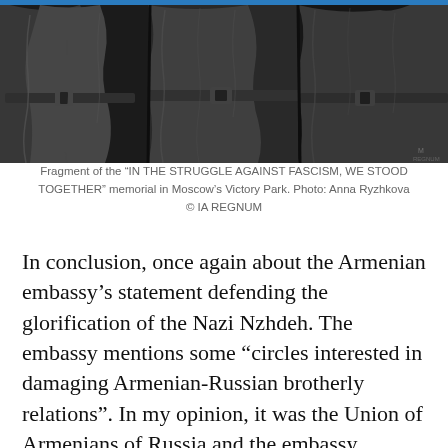[Figure (photo): Black and white close-up fragment of a war memorial sculpture showing soldiers' torsos in military uniforms with belts, rendered in relief stone or bronze.]
Fragment of the “IN THE STRUGGLE AGAINST FASCISM, WE STOOD TOGETHER” memorial in Moscow’s Victory Park. Photo: Anna Ryzhkova © IA REGNUM
In conclusion, once again about the Armenian embassy’s statement defending the glorification of the Nazi Nzhdeh. The embassy mentions some “circles interested in damaging Armenian-Russian brotherly relations”. In my opinion, it was the Union of Armenians of Russia and the embassy supporting it that damaged our relations with these actions. As for the quality, neither Russia, as the successor of the Soviet Union, nor our people can